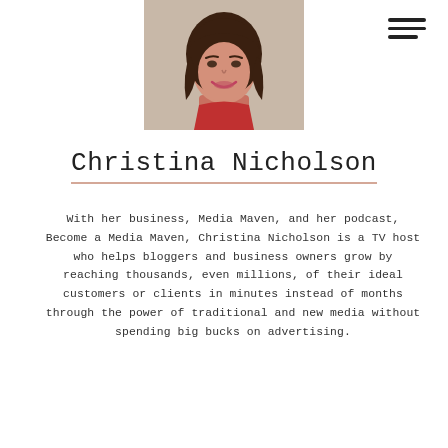[Figure (photo): Portrait photo of Christina Nicholson, a woman with long dark brown hair, smiling, wearing a red top, photographed from shoulders up against a light background.]
Christina Nicholson
With her business, Media Maven, and her podcast, Become a Media Maven, Christina Nicholson is a TV host who helps bloggers and business owners grow by reaching thousands, even millions, of their ideal customers or clients in minutes instead of months through the power of traditional and new media without spending big bucks on advertising.